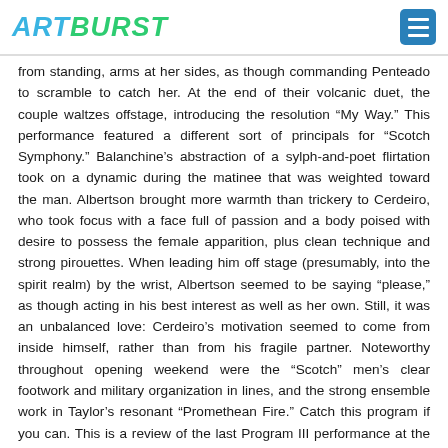ARTBURST
from standing, arms at her sides, as though commanding Penteado to scramble to catch her. At the end of their volcanic duet, the couple waltzes offstage, introducing the resolution “My Way.” This performance featured a different sort of principals for “Scotch Symphony.” Balanchine’s abstraction of a sylph-and-poet flirtation took on a dynamic during the matinee that was weighted toward the man. Albertson brought more warmth than trickery to Cerdeiro, who took focus with a face full of passion and a body poised with desire to possess the female apparition, plus clean technique and strong pirouettes. When leading him off stage (presumably, into the spirit realm) by the wrist, Albertson seemed to be saying “please,” as though acting in his best interest as well as her own. Still, it was an unbalanced love: Cerdeiro’s motivation seemed to come from inside himself, rather than from his fragile partner. Noteworthy throughout opening weekend were the “Scotch” men’s clear footwork and military organization in lines, and the strong ensemble work in Taylor’s resonant “Promethean Fire.” Catch this program if you can. This is a review of the last Program III performance at the Arsht Center on